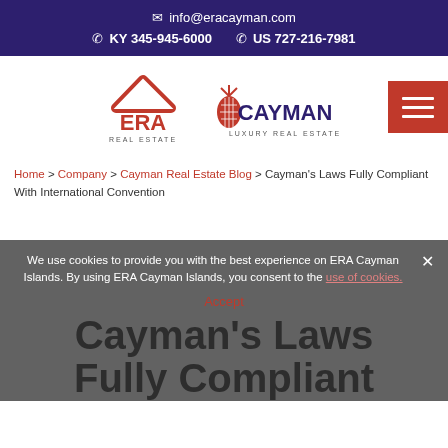✉ info@eracayman.com  ✆ KY 345-945-6000  ✆ US 727-216-7981
[Figure (logo): ERA Real Estate and Cayman Luxury Real Estate logos side by side, with a hamburger menu button on the right]
Home > Company > Cayman Real Estate Blog > Cayman's Laws Fully Compliant With International Convention
We use cookies to provide you with the best experience on ERA Cayman Islands. By using ERA Cayman Islands, you consent to the use of cookies.
Cayman's Laws Fully Compliant